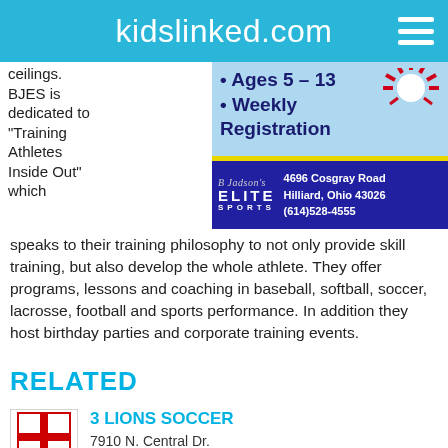kidslinked.com
[Figure (screenshot): Advertisement for BJ Elite Sports with bullet points 'Ages 5-13' and 'Weekly Registration', logo, address: 4696 Cosgray Road, Hilliard, Ohio 43026, (614)528-4555]
ceilings. BJES is dedicated to "Training Athletes Inside Out" which speaks to their training philosophy to not only provide skill training, but also develop the whole athlete. They offer programs, lessons and coaching in baseball, softball, soccer, lacrosse, football and sports performance. In addition they host birthday parties and corporate training events.
RELATED
3 LIONS SOCCER
7910 N. Central Dr.
Lewis Center, OH 43035